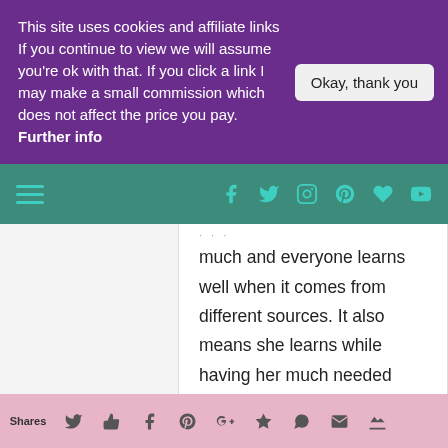This site uses cookies and affiliate links If you continue to view we will assume you're ok with that. If you click a link I may make a small commission which does not affect the price you pay. Further info
Okay, thank you
much and everyone learns well when it comes from different sources. It also means she learns while having her much needed rest.
Lynne x
Disclaimer: even though we were provided with a Kidloland app free of
Shares